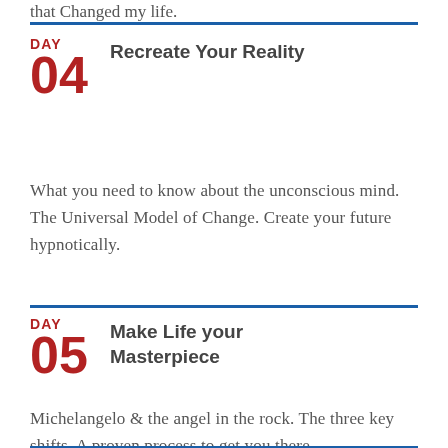that Changed my life.
DAY 04 Recreate Your Reality
What you need to know about the unconscious mind. The Universal Model of Change. Create your future hypnotically.
DAY 05 Make Life your Masterpiece
Michelangelo & the angel in the rock. The three key shifts. A proven process to get you there.